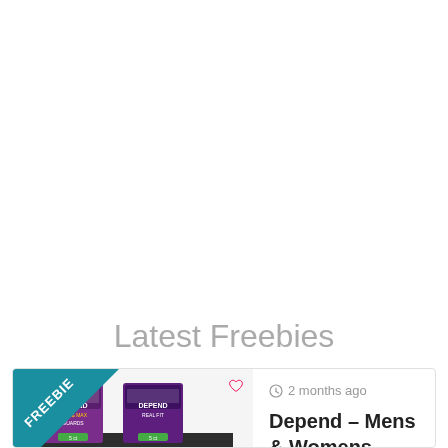Latest Freebies
[Figure (screenshot): Product thumbnail showing Depend mens and womens sample packages with a teal FREEBIE ribbon banner and a heart icon in the top right of the image.]
2 months ago
Depend – Mens & Womens Samples